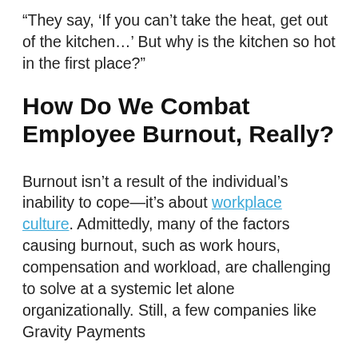“They say, ‘If you can’t take the heat, get out of the kitchen…’ But why is the kitchen so hot in the first place?”
How Do We Combat Employee Burnout, Really?
Burnout isn’t a result of the individual’s inability to cope—it’s about workplace culture. Admittedly, many of the factors causing burnout, such as work hours, compensation and workload, are challenging to solve at a systemic let alone organizationally. Still, a few companies like Gravity Payments